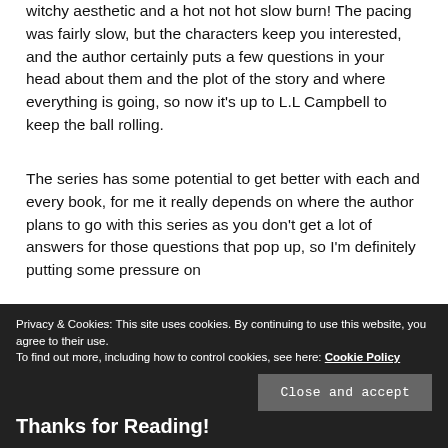witchy aesthetic and a hot not hot slow burn! The pacing was fairly slow, but the characters keep you interested, and the author certainly puts a few questions in your head about them and the plot of the story and where everything is going, so now it’s up to L.L Campbell to keep the ball rolling.
The series has some potential to get better with each and every book, for me it really depends on where the author plans to go with this series as you don’t get a lot of answers for those questions that pop up, so I’m definitely putting some pressure on
Privacy & Cookies: This site uses cookies. By continuing to use this website, you agree to their use.
To find out more, including how to control cookies, see here: Cookie Policy
Close and accept
Thanks for Reading!